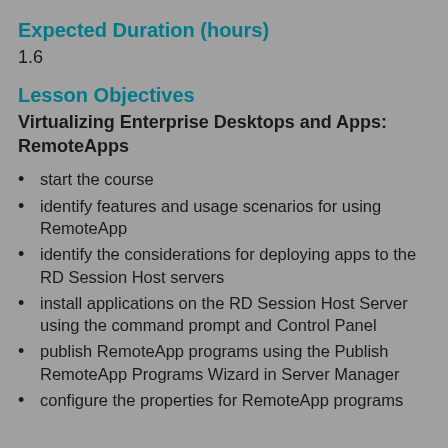Expected Duration (hours)
1.6
Lesson Objectives
Virtualizing Enterprise Desktops and Apps: RemoteApps
start the course
identify features and usage scenarios for using RemoteApp
identify the considerations for deploying apps to the RD Session Host servers
install applications on the RD Session Host Server using the command prompt and Control Panel
publish RemoteApp programs using the Publish RemoteApp Programs Wizard in Server Manager
configure the properties for RemoteApp programs